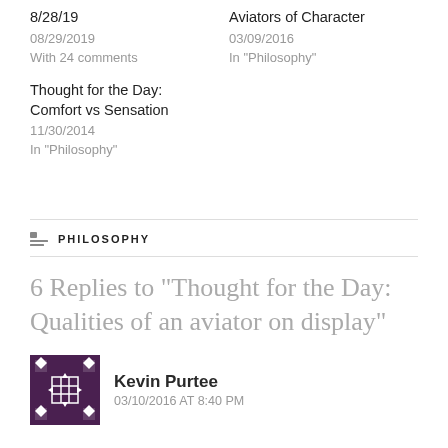8/28/19
08/29/2019
With 24 comments
Aviators of Character
03/09/2016
In "Philosophy"
Thought for the Day: Comfort vs Sensation
11/30/2014
In "Philosophy"
PHILOSOPHY
6 Replies to “Thought for the Day: Qualities of an aviator on display”
Kevin Purtee